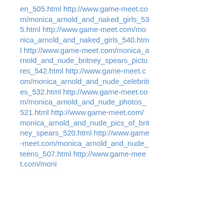en_505.html http://www.game-meet.com/monica_arnold_and_naked_girls_535.html http://www.game-meet.com/monica_arnold_and_naked_girls_540.html http://www.game-meet.com/monica_arnold_and_nude_britney_spears_pictures_542.html http://www.game-meet.com/monica_arnold_and_nude_celebrities_532.html http://www.game-meet.com/monica_arnold_and_nude_photos_521.html http://www.game-meet.com/monica_arnold_and_nude_pics_of_britney_spears_520.html http://www.game-meet.com/monica_arnold_and_nude_teens_507.html http://www.game-meet.com/moni